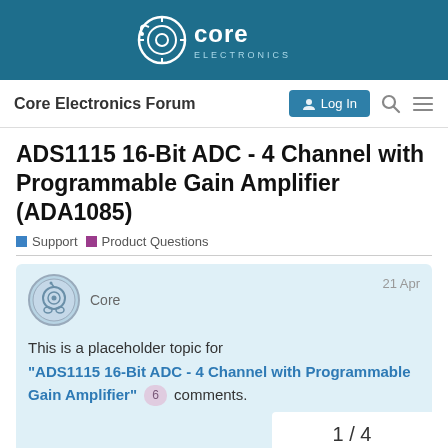Core Electronics (logo)
Core Electronics Forum  Log In
ADS1115 16-Bit ADC - 4 Channel with Programmable Gain Amplifier (ADA1085)
Support  Product Questions
Core  21 Apr
This is a placeholder topic for "ADS1115 16-Bit ADC - 4 Channel with Programmable Gain Amplifier" 6 comments.
1 / 4